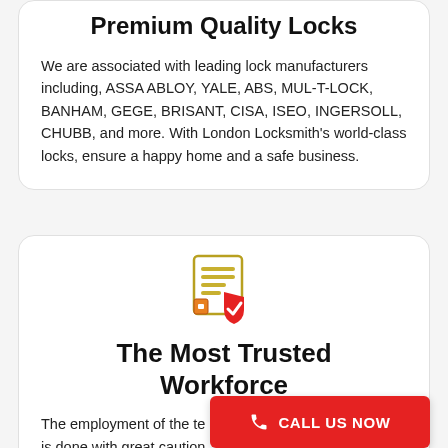Premium Quality Locks
We are associated with leading lock manufacturers including, ASSA ABLOY, YALE, ABS, MUL-T-LOCK,  BANHAM, GEGE, BRISANT, CISA, ISEO, INGERSOLL, CHUBB, and more. With London Locksmith's world-class locks, ensure a happy home and a safe business.
[Figure (illustration): Icon of a document/certificate with a red shield and checkmark overlay, representing trustworthiness and certification.]
The Most Trusted Workforce
The employment of the te... Locksmith is done with great caution. Thorough
CALL US NOW